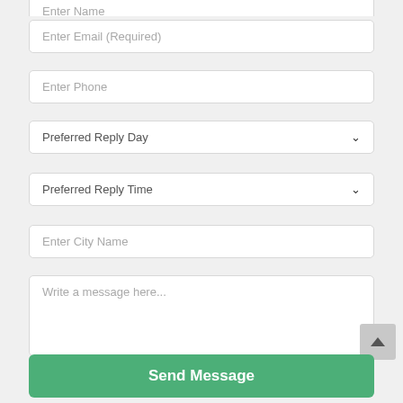[Figure (screenshot): A web contact form showing partially visible 'Enter Name' field at top, then fields for 'Enter Email (Required)', 'Enter Phone', dropdown for 'Preferred Reply Day', dropdown for 'Preferred Reply Time', 'Enter City Name', a large textarea with 'Write a message here...', and a green 'Send Message' button at the bottom. A scroll-to-top button is visible in the bottom right.]